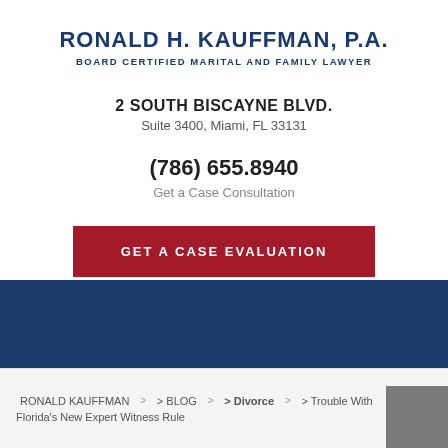RONALD H. KAUFFMAN, P.A.
BOARD CERTIFIED MARITAL AND FAMILY LAWYER
2 SOUTH BISCAYNE BLVD.
Suite 3400, Miami, FL 33131
(786) 655.8940
Get a Case Consultation
GET A CASE EVALUATION
RONALD KAUFFMAN > > BLOG > > Divorce > > Trouble With Florida's New Expert Witness Rule